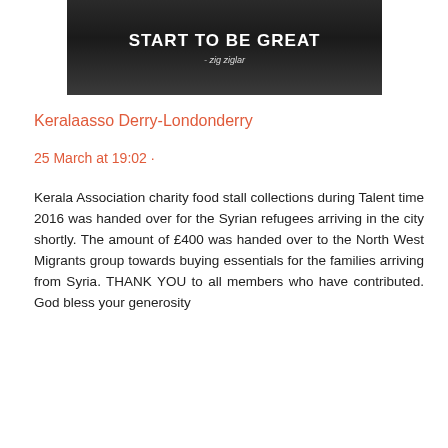[Figure (photo): Dark/black background image with white bold text reading 'START TO BE GREAT' and smaller italic text '- zig ziglar' below]
Keralaasso Derry-Londonderry
25 March at 19:02 ·
Kerala Association charity food stall collections during Talent time 2016 was handed over for the Syrian refugees arriving in the city shortly. The amount of £400 was handed over to the North West Migrants group towards buying essentials for the families arriving from Syria. THANK YOU to all members who have contributed. God bless your generosity